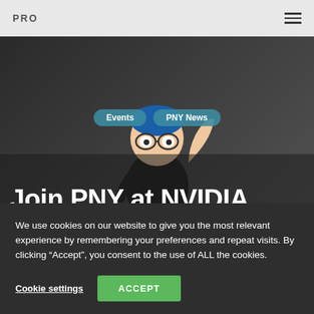PRO
[Figure (screenshot): Hero image showing an animated 3D character (Jensen Huang avatar) waving, with 'Events' and 'PNY News' tag buttons overlaid, and headline 'Join PNY at NVIDIA GTC in March 22' displayed at the bottom of the image area. Side panels show partial warehouse/industrial imagery on the left and a car on the right.]
Join PNY at NVIDIA GTC in March 22
We use cookies on our website to give you the most relevant experience by remembering your preferences and repeat visits. By clicking “Accept”, you consent to the use of ALL the cookies.
Cookie settings
ACCEPT